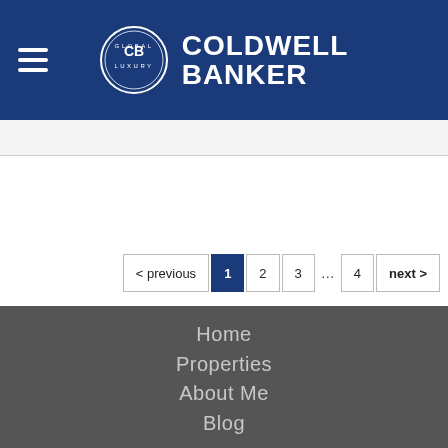Coldwell Banker Global Luxury
< previous 1 2 3 ... 4 next >
Home
Properties
About Me
Blog